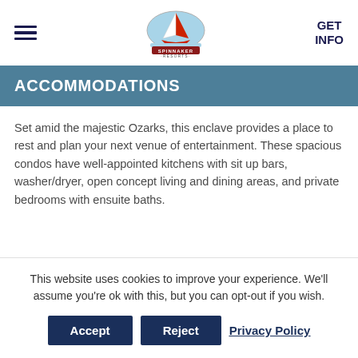GET INFO
ACCOMMODATIONS
Set amid the majestic Ozarks, this enclave provides a place to rest and plan your next venue of entertainment. These spacious condos have well-appointed kitchens with sit up bars, washer/dryer, open concept living and dining areas, and private bedrooms with ensuite baths.
This website uses cookies to improve your experience. We'll assume you're ok with this, but you can opt-out if you wish.